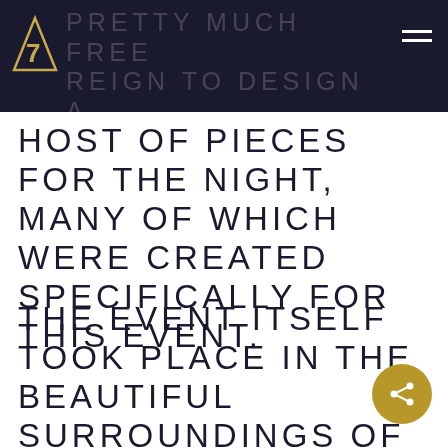PRETTY MUCH FREE REIGN TO DESIGN A
HOST OF PIECES FOR THE NIGHT, MANY OF WHICH WERE CREATED SPECIFICALLY FOR THIS EVENT.
THE EVENT ITSELF TOOK PLACE IN THE BEAUTIFUL SURROUNDINGS OF DUBLIN'S CONVENTION CENTRE AND WE WERE